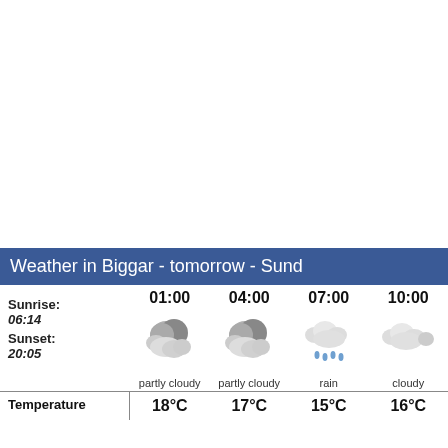Weather in Biggar - tomorrow - Sund
|  | 01:00 | 04:00 | 07:00 | 10:00 |
| --- | --- | --- | --- | --- |
| Sunrise: 06:14 Sunset: 20:05 | partly cloudy | partly cloudy | rain | cloudy |
| Temperature | 18°C | 17°C | 15°C | 16°C |